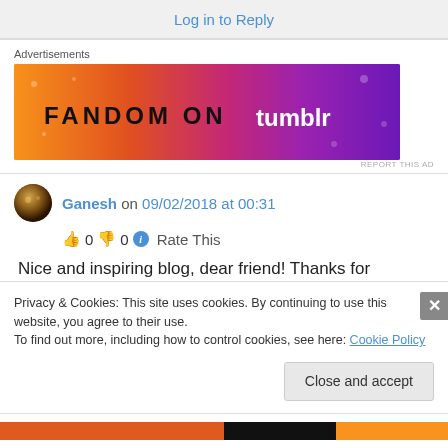Log in to Reply
Advertisements
[Figure (illustration): Fandom on Tumblr advertisement banner with orange to purple gradient background]
REPORT THIS AD
Ganesh on 09/02/2018 at 00:31
👍 0 👎 0 ℹ Rate This
Nice and inspiring blog, dear friend! Thanks for following “Known is a drop, Unknown is an
Privacy & Cookies: This site uses cookies. By continuing to use this website, you agree to their use.
To find out more, including how to control cookies, see here: Cookie Policy
Close and accept